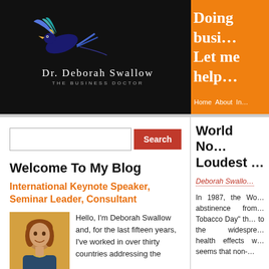[Figure (logo): Dr. Deborah Swallow - The Business Doctor logo with bird illustration on black background]
Doing busi… Let me help…
Home   About   In…
Search
Welcome To My Blog
International Keynote Speaker, Seminar Leader, Consultant
[Figure (photo): Photo of Deborah Swallow]
Hello, I'm Deborah Swallow and, for the last fifteen years, I've worked in over thirty countries addressing the
World No… Loudest …
Deborah Swallo…
In 1987, the Wo… abstinence from… Tobacco Day" th… to the widespre… health effects w… seems that non-…